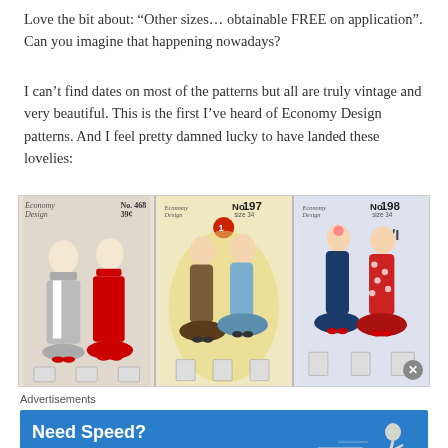Love the bit about: “Other sizes… obtainable FREE on application”. Can you imagine that happening nowadays?
I can’t find dates on most of the patterns but all are truly vintage and very beautiful. This is the first I’ve heard of Economy Design patterns. And I feel pretty damned lucky to have landed these lovelies:
[Figure (photo): Three vintage Economy Design sewing pattern covers side by side: left panel shows grey and red jumper/blouse pattern, middle panel shows No.197 with two women in floral and blue dresses, right panel shows No.198 with two women in navy and red floral dresses.]
Advertisements
[Figure (infographic): Advertisement for Pressable hosting: blue background with bold white text 'Need Speed? Get Pressable' and a running figure illustration.]